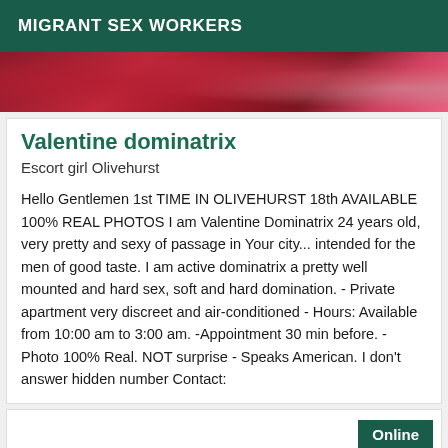MIGRANT SEX WORKERS
[Figure (photo): Red fabric/textile close-up image strip]
Valentine dominatrix
Escort girl Olivehurst
Hello Gentlemen 1st TIME IN OLIVEHURST 18th AVAILABLE 100% REAL PHOTOS I am Valentine Dominatrix 24 years old, very pretty and sexy of passage in Your city... intended for the men of good taste. I am active dominatrix a pretty well mounted and hard sex, soft and hard domination. - Private apartment very discreet and air-conditioned - Hours: Available from 10:00 am to 3:00 am. -Appointment 30 min before. - Photo 100% Real. NOT surprise - Speaks American. I don't answer hidden number Contact:
Online